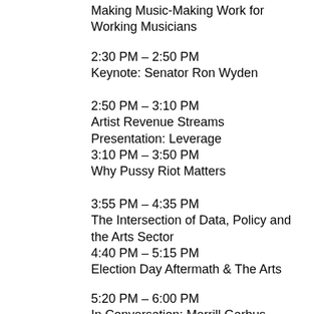Making Music-Making Work for Working Musicians
2:30 PM – 2:50 PM
Keynote: Senator Ron Wyden
2:50 PM – 3:10 PM
Artist Revenue Streams Presentation: Leverage
3:10 PM – 3:50 PM
Why Pussy Riot Matters
3:55 PM – 4:35 PM
The Intersection of Data, Policy and the Arts Sector
4:40 PM – 5:15 PM
Election Day Aftermath & The Arts
5:20 PM – 6:00 PM
In Conversation: Merrill Garbus, Thao Nguyen, Chris Walla and Jordan Kurland